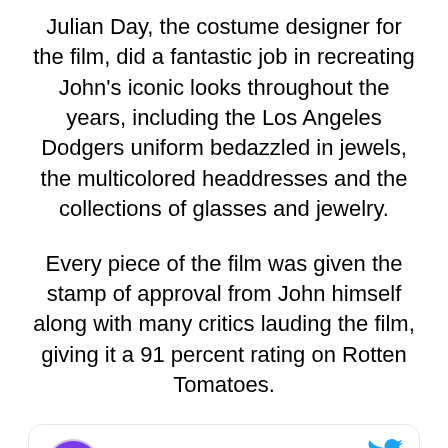Julian Day, the costume designer for the film, did a fantastic job in recreating John's iconic looks throughout the years, including the Los Angeles Dodgers uniform bedazzled in jewels, the multicolored headdresses and the collections of glasses and jewelry.
Every piece of the film was given the stamp of approval from John himself along with many critics lauding the film, giving it a 91 percent rating on Rotten Tomatoes.
[Figure (screenshot): Embedded tweet from @eltonofficial (Elton John, verified) with Twitter bird logo in top right and a Follow link. Tweet text begins: 'Experience the epic musical fantasy #Rocketman in theatres now! Get tickets:']